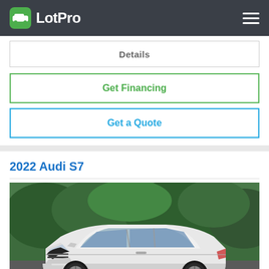LotPro
Details
Get Financing
Get a Quote
2022 Audi S7
[Figure (photo): 2022 Audi S7 white luxury sedan photographed from front-left angle, parked on a road with green trees/hedges in background]